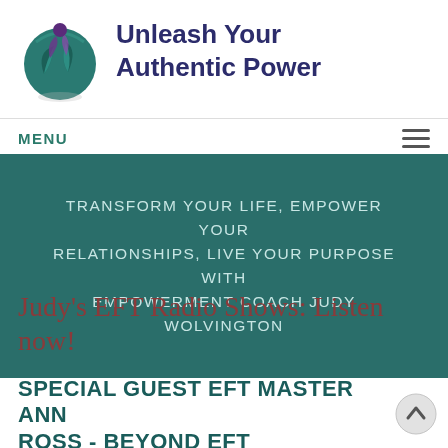[Figure (logo): Circular teal logo with purple figure and leaf/wing shapes, representing Unleash Your Authentic Power brand]
Unleash Your Authentic Power
MENU
TRANSFORM YOUR LIFE, EMPOWER YOUR RELATIONSHIPS, LIVE YOUR PURPOSE WITH EMPOWERMENT COACH JUDY WOLVINGTON
Judy's EFT Radio Shows: Listen now!
SPECIAL GUEST EFT MASTER ANN
ROSS - BEYOND EFT EMBRACING